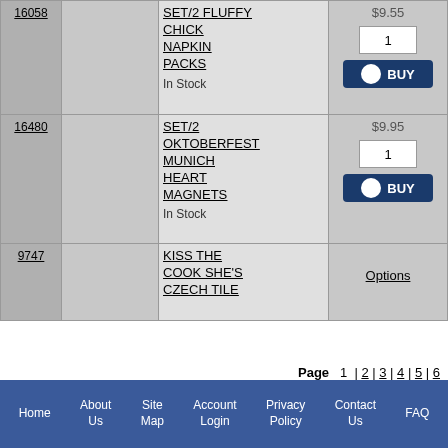| ID | Image | Description | Price/Action |
| --- | --- | --- | --- |
| 16058 |  | SET/2 FLUFFY CHICK NAPKIN PACKS
In Stock | $9.55
[qty:1] [BUY] |
| 16480 |  | SET/2 OKTOBERFEST MUNICH HEART MAGNETS
In Stock | $9.95
[qty:1] [BUY] |
| 9747 |  | KISS THE COOK SHE'S CZECH TILE | Options |
Page  1 | 2 | 3 | 4 | 5 | 6
Home | About Us | Site Map | Account Login | Privacy Policy | Contact Us | FAQ